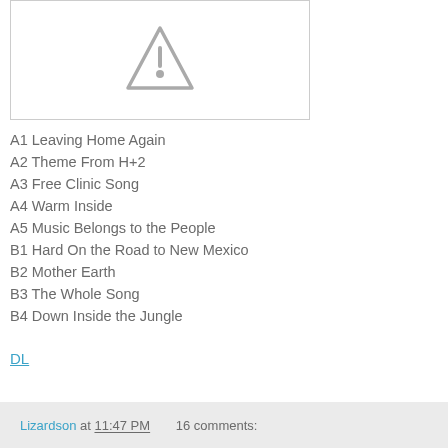[Figure (other): Placeholder image with a broken image icon (triangle with exclamation mark) inside a bordered box]
A1 Leaving Home Again
A2 Theme From H+2
A3 Free Clinic Song
A4 Warm Inside
A5 Music Belongs to the People
B1 Hard On the Road to New Mexico
B2 Mother Earth
B3 The Whole Song
B4 Down Inside the Jungle
DL
Lizardson at 11:47 PM   16 comments: